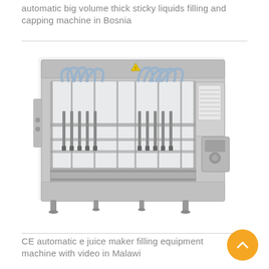automatic big volume thick sticky liquids filling and capping machine in Bosnia
[Figure (photo): Industrial automatic filling and capping machine with multiple filling heads and stainless steel frame]
CE automatic e juice maker filling equipment machine with video in Malawi